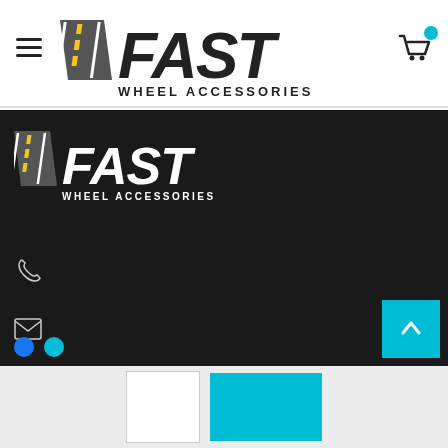[Figure (logo): Fast Wheel Accessories logo in header — bold italic FAST text with road/stripe graphic, WHEEL ACCESSORIES subtitle]
[Figure (logo): Fast Wheel Accessories logo in dark footer section — same logo on dark background]
[Figure (screenshot): Website screenshot showing Fast Wheel Accessories page with header nav, dark footer with logo, phone icon, email icon, social icons, scroll-to-top cyan button, and bottom pagination/nav bar]